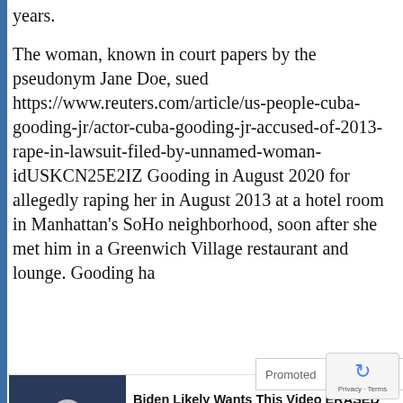years.
The woman, known in court papers by the pseudonym Jane Doe, sued https://www.reuters.com/article/us-people-cuba-gooding-jr/actor-cuba-gooding-jr-accused-of-2013-rape-in-lawsuit-filed-by-unnamed-woman-idUSKCN25E2IZ Gooding in August 2020 for allegedly raping her in August 2013 at a hotel room in Manhattan's SoHo neighborhood, soon after she met him in a Greenwich Village restaurant and lounge. Gooding ha
[Figure (screenshot): Advertisement overlay with 'Promoted' label and X close button, followed by two ad items: 1) Video thumbnail with play button and text 'Biden Likely Wants This Video ERASED — Possible Changes To US Dollar Revealed', 2) Image of women in pink clothing with text 'A Teaspoon On An Empty Stomach Burns 12 Lbs Of Fat A Week Safely!']